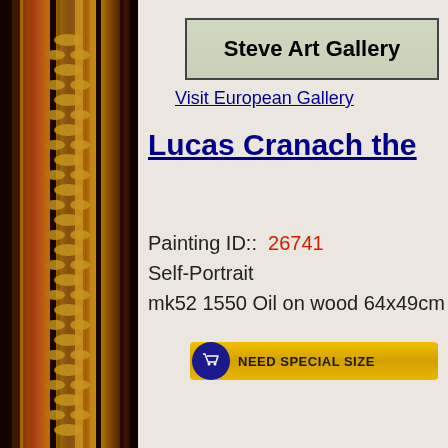[Figure (illustration): Decorative ornate gold and dark red picture frame strip along left side of page]
[Figure (logo): Steve Art Gallery logo in a bordered box with light green-grey background]
Visit European Gallery
Lucas Cranach the
Painting ID::  26741
Self-Portrait
mk52 1550 Oil on wood 64x49cm Uffizi,Flore
[Figure (other): NEED SPECIAL SIZE button with shopping cart icon on yellow/gold background]